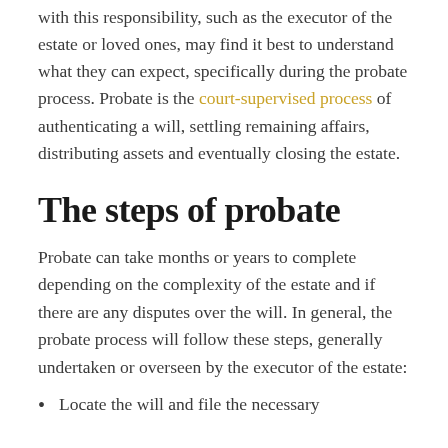with this responsibility, such as the executor of the estate or loved ones, may find it best to understand what they can expect, specifically during the probate process. Probate is the court-supervised process of authenticating a will, settling remaining affairs, distributing assets and eventually closing the estate.
The steps of probate
Probate can take months or years to complete depending on the complexity of the estate and if there are any disputes over the will. In general, the probate process will follow these steps, generally undertaken or overseen by the executor of the estate:
Locate the will and file the necessary